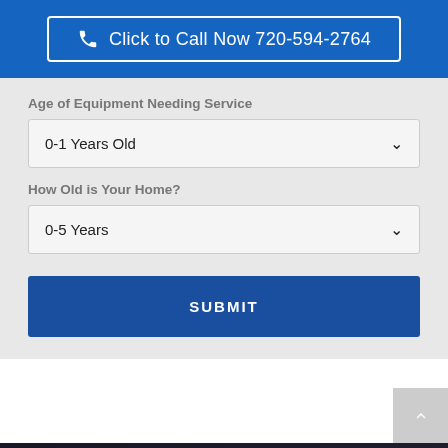Click to Call Now 720-594-2764
Age of Equipment Needing Service
0-1 Years Old
How Old is Your Home?
0-5 Years
SUBMIT
HVAC Financing
Click Here to Chat!